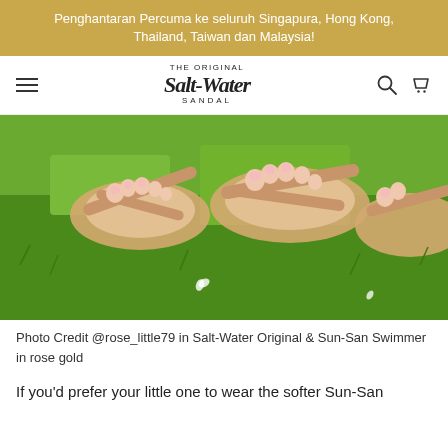Penghantaran Percuma ke seluruh Singapura, Hong Kong, Thailand, Taiwan dan Malaysia!
[Figure (logo): The Original Salt-Water Sandal logo with hamburger menu, search and cart icons]
[Figure (photo): Close-up photo of feet wearing Salt-Water Original and Sun-San Swimmer sandals in rose gold, on grass]
Photo Credit @rose_little79 in Salt-Water Original & Sun-San Swimmer in rose gold
If you'd prefer your little one to wear the softer Sun-San